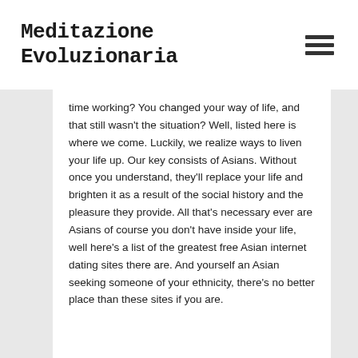Meditazione Evoluzionaria
time working? You changed your way of life, and that still wasn't the situation? Well, listed here is where we come. Luckily, we realize ways to liven your life up. Our key consists of Asians. Without once you understand, they'll replace your life and brighten it as a result of the social history and the pleasure they provide. All that's necessary ever are Asians of course you don't have inside your life, well here's a list of the greatest free Asian internet dating sites there are. And yourself an Asian seeking someone of your ethnicity, there's no better place than these sites if you are.